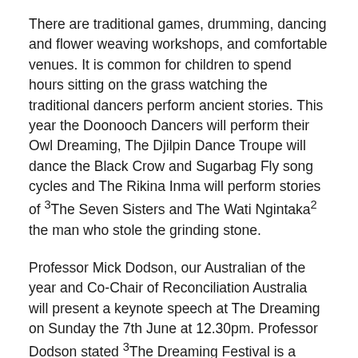There are traditional games, drumming, dancing and flower weaving workshops, and comfortable venues. It is common for children to spend hours sitting on the grass watching the traditional dancers perform ancient stories. This year the Doonooch Dancers will perform their Owl Dreaming, The Djilpin Dance Troupe will dance the Black Crow and Sugarbag Fly song cycles and The Rikina Inma will perform stories of ³The Seven Sisters and The Wati Ngintaka² the man who stole the grinding stone.
Professor Mick Dodson, our Australian of the year and Co-Chair of Reconciliation Australia will present a keynote speech at The Dreaming on Sunday the 7th June at 12.30pm. Professor Dodson stated ³The Dreaming Festival is a wonderful showcase of Indigenous talent – a great gathering of proud people demonstrating strong, proud cultures. It's an experience every Australian needs and deserves, and I'm very much looking forward to being part of it this year."
With concerts, ceremony and dancing grounds, art galleries and a speakers programme, The Dreaming offers an authentic